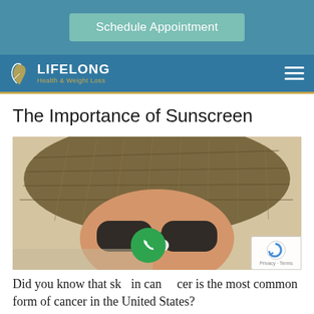[Figure (screenshot): Teal header bar with 'Schedule Appointment' button]
[Figure (logo): Lifelong Health & Weight Loss logo with navigation bar and hamburger menu]
The Importance of Sunscreen
[Figure (photo): Close-up photo of a person wearing a woven hat and sunglasses with sunscreen on nose]
Did you know that skin cancer is the most common form of cancer in the United States?